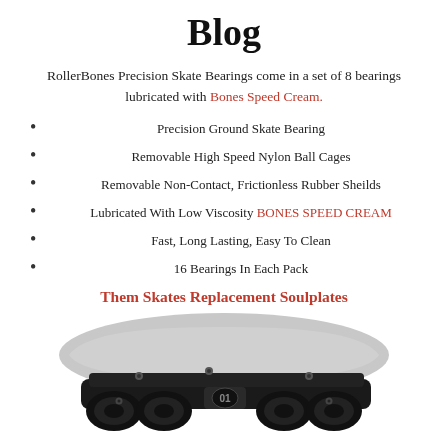Blog
RollerBones Precision Skate Bearings come in a set of 8 bearings lubricated with Bones Speed Cream.
Precision Ground Skate Bearing
Removable High Speed Nylon Ball Cages
Removable Non-Contact, Frictionless Rubber Sheilds
Lubricated With Low Viscosity BONES SPEED CREAM
Fast, Long Lasting, Easy To Clean
16 Bearings In Each Pack
Them Skates Replacement Soulplates
[Figure (photo): Bottom view of a black inline skate frame/soulplate with wheels, mounted on a gray boot shell. Watermark text visible at bottom left.]